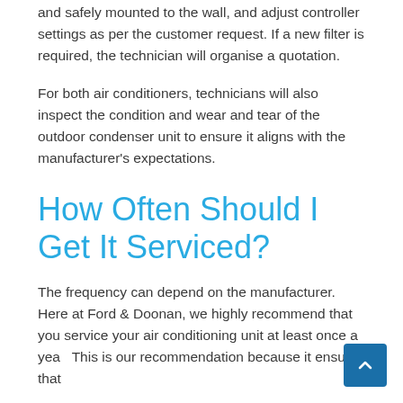and safely mounted to the wall, and adjust controller settings as per the customer request. If a new filter is required, the technician will organise a quotation.
For both air conditioners, technicians will also inspect the condition and wear and tear of the outdoor condenser unit to ensure it aligns with the manufacturer's expectations.
How Often Should I Get It Serviced?
The frequency can depend on the manufacturer. Here at Ford & Doonan, we highly recommend that you service your air conditioning unit at least once a year. This is our recommendation because it ensures that